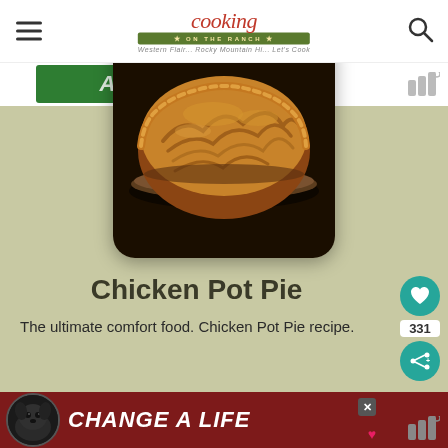cooking on the ranch — Western Flair... Rocky Mountain Hi... Let's Cook
[Figure (screenshot): Green banner advertisement bar at top]
[Figure (photo): Golden-brown baked chicken pot pie in a glass pie dish, viewed from above at slight angle, set against dark background]
Chicken Pot Pie
The ultimate comfort food. Chicken Pot Pie recipe.
[Figure (infographic): Bottom advertisement banner: black dog photo with 'CHANGE A LIFE' text on dark red background with WW logo]
[Figure (infographic): Teal heart save button showing 331 saves, and teal share button on right side]